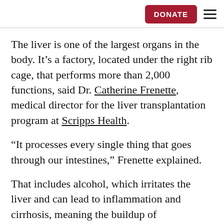DONATE
The liver is one of the largest organs in the body. It’s a factory, located under the right rib cage, that performs more than 2,000 functions, said Dr. Catherine Frenette, medical director for the liver transplantation program at Scripps Health.
“It processes every single thing that goes through our intestines,” Frenette explained.
That includes alcohol, which irritates the liver and can lead to inflammation and cirrhosis, meaning the buildup of…